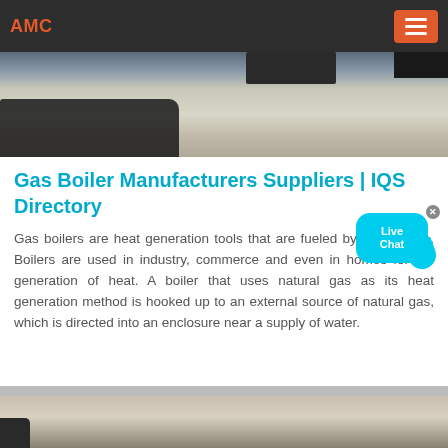AMC
[Figure (photo): Outdoor industrial/snowy scene, partial view cropped at top of page]
Gas Boiler Manufacturers Suppliers | IQS Directory
[Figure (other): Live Chat button/bubble overlay in cyan with white text]
Gas boilers are heat generation tools that are fueled by natural gas. Boilers are used in industry, commerce and even in homes for the generation of heat. A boiler that uses natural gas as its heat generation method is hooked up to an external source of natural gas, which is directed into an enclosure near a supply of water.
[Figure (photo): Outdoor/industrial scene, partially visible at bottom of page]